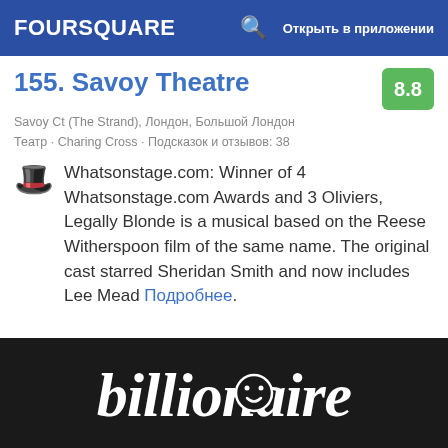FOURSQUARE  🔍  Открыть в приложении
155. Savoy Theatre  8.8
Savoy Ct (The Strand), Лондон, Большой Лондон
Театр · Charing Cross · Подсказок и отзывов: 38
Whatsonstage.com: Winner of 4 Whatsonstage.com Awards and 3 Oliviers, Legally Blonde is a musical based on the Reese Witherspoon film of the same name. The original cast starred Sheridan Smith and now includes Lee Mead Подробнее.
[Figure (illustration): Billionaire cursive logo in white on black background]